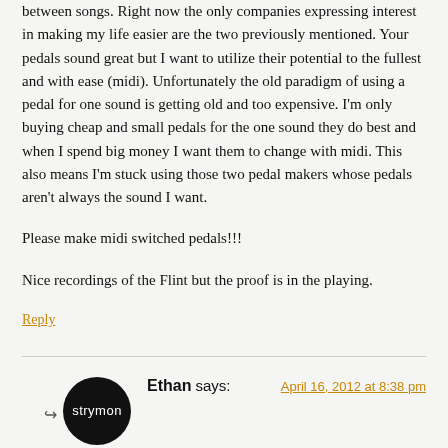between songs. Right now the only companies expressing interest in making my life easier are the two previously mentioned. Your pedals sound great but I want to utilize their potential to the fullest and with ease (midi). Unfortunately the old paradigm of using a pedal for one sound is getting old and too expensive. I'm only buying cheap and small pedals for the one sound they do best and when I spend big money I want them to change with midi. This also means I'm stuck using those two pedal makers whose pedals aren't always the sound I want.
Please make midi switched pedals!!!
Nice recordings of the Flint but the proof is in the playing.
Reply
Ethan says:
April 16, 2012 at 8:38 pm
@Justin – thanks for the feedback. The philosophy behind Flint is to capture the essence and vibe of the classic combination of